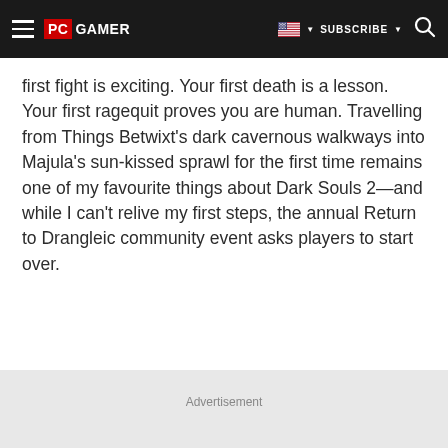PC GAMER | SUBSCRIBE
first fight is exciting. Your first death is a lesson. Your first ragequit proves you are human. Travelling from Things Betwixt's dark cavernous walkways into Majula's sun-kissed sprawl for the first time remains one of my favourite things about Dark Souls 2—and while I can't relive my first steps, the annual Return to Drangleic community event asks players to start over.
Advertisement